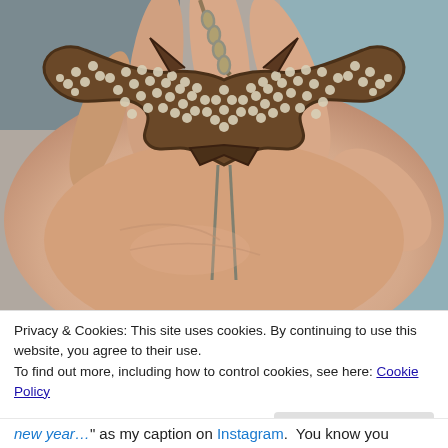[Figure (photo): A hand holding a large bedazzled Batman logo necklace pendant covered in rhinestones/crystals, with a chain visible at the top. Warm-toned photo with pinkish skin tones and a light blue background.]
Privacy & Cookies: This site uses cookies. By continuing to use this website, you agree to their use.
To find out more, including how to control cookies, see here: Cookie Policy
Close and accept
new year…" as my caption on Instagram.  You know you